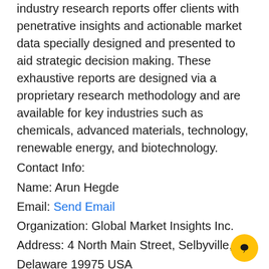industry research reports offer clients with penetrative insights and actionable market data specially designed and presented to aid strategic decision making. These exhaustive reports are designed via a proprietary research methodology and are available for key industries such as chemicals, advanced materials, technology, renewable energy, and biotechnology.
Contact Info:
Name: Arun Hegde
Email: Send Email
Organization: Global Market Insights Inc.
Address: 4 North Main Street, Selbyville, Delaware 19975 USA
Phone: 1-302-846-7766